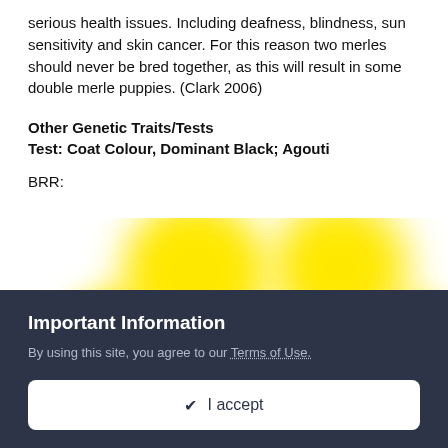serious health issues. Including deafness, blindness, sun sensitivity and skin cancer. For this reason two merles should never be bred together, as this will result in some double merle puppies. (Clark 2006)
Other Genetic Traits/Tests
Test: Coat Colour, Dominant Black; Agouti
BRR:
[Figure (photo): Blurred/redacted yellow blobs on white background, obscuring genetic test result data]
Important Information
By using this site, you agree to our Terms of Use.
✔ I accept